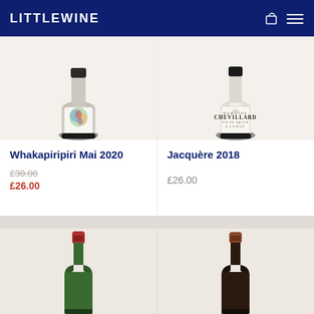LITTLEWINE
[Figure (photo): Wine bottle with colorful abstract label (Whakapiripiri Mai 2020)]
Whakapiripiri Mai 2020
£30.00 (original price, struck through) £26.00 (sale price)
[Figure (photo): Wine bottle with Chevillard Vin de Savoie Jacquere label]
Jacquère 2018
£26.00
[Figure (photo): Green wine bottle with red foil top]
[Figure (photo): Dark wine bottle with brown/red foil top]